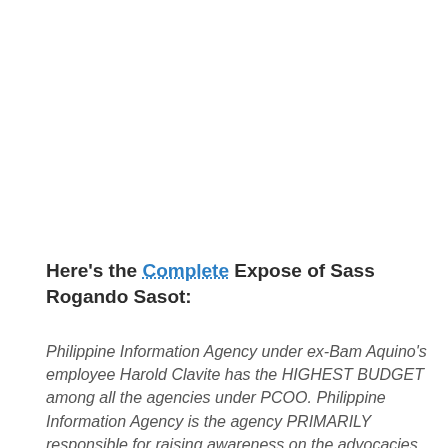Here's the Complete Expose of Sass Rogando Sasot:
Philippine Information Agency under ex-Bam Aquino's employee Harold Clavite has the HIGHEST BUDGET among all the agencies under PCOO. Philippine Information Agency is the agency PRIMARILY responsible for raising awareness on the advocacies of the Office of the President, Yet: